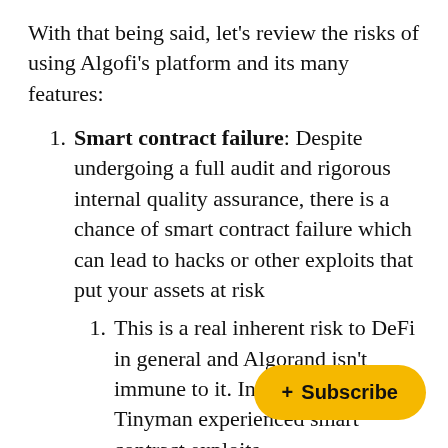With that being said, let's review the risks of using Algofi's platform and its many features:
Smart contract failure: Despite undergoing a full audit and rigorous internal quality assurance, there is a chance of smart contract failure which can lead to hacks or other exploits that put your assets at risk
This is a real inherent risk to DeFi in general and Algorand isn't immune to it. In January 2022, Tinyman experienced smart contract exploits and [text obscured] away with $3MM+ [text obscured]
Liquidation: Users who fail to maintain a